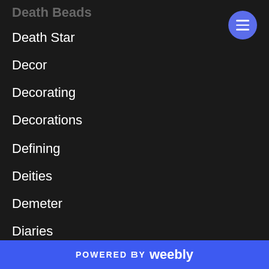Death Beads
Death Star
Decor
Decorating
Decorations
Defining
Deities
Demeter
Diaries
Dislike Button
Disney
Disney Princesses
POWERED BY weebly